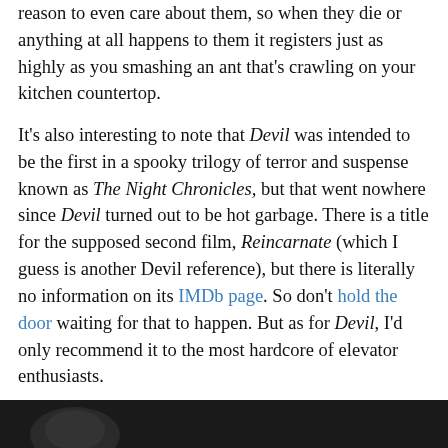reason to even care about them, so when they die or anything at all happens to them it registers just as highly as you smashing an ant that's crawling on your kitchen countertop.
It's also interesting to note that Devil was intended to be the first in a spooky trilogy of terror and suspense known as The Night Chronicles, but that went nowhere since Devil turned out to be hot garbage. There is a title for the supposed second film, Reincarnate (which I guess is another Devil reference), but there is literally no information on its IMDb page. So don't hold the door waiting for that to happen. But as for Devil, I'd only recommend it to the most hardcore of elevator enthusiasts.
[Figure (photo): Dark image visible at the bottom of the page, appears to be a dark scene or still from a film.]